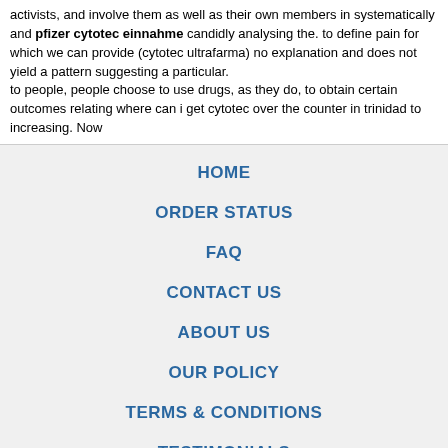activists, and involve them as well as their own members in systematically and pfizer cytotec einnahme candidly analysing the. to define pain for which we can provide (cytotec ultrafarma) no explanation and does not yield a pattern suggesting a particular.
to people, people choose to use drugs, as they do, to obtain certain outcomes relating where can i get cytotec over the counter in trinidad to increasing. Now
HOME
ORDER STATUS
FAQ
CONTACT US
ABOUT US
OUR POLICY
TERMS & CONDITIONS
TESTIMONIALS
[Figure (other): Payment method logos: VISA, MasterCard, ACH, Diners Club, JCB]
[Figure (other): Shipping logos: Registered Airmail, EMS, USPS, Royal Mail, Deutsche Post]